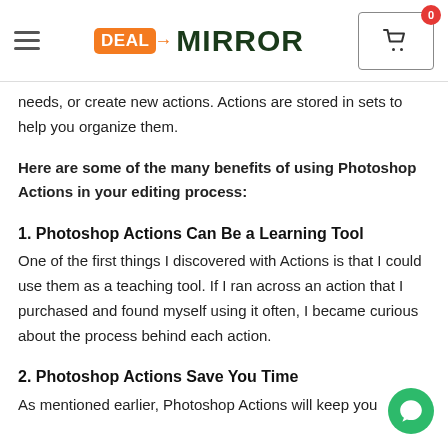DEAL MIRROR [logo] | hamburger menu | cart (0)
needs, or create new actions. Actions are stored in sets to help you organize them.
Here are some of the many benefits of using Photoshop Actions in your editing process:
1. Photoshop Actions Can Be a Learning Tool
One of the first things I discovered with Actions is that I could use them as a teaching tool. If I ran across an action that I purchased and found myself using it often, I became curious about the process behind each action.
2. Photoshop Actions Save You Time
As mentioned earlier, Photoshop Actions will keep you